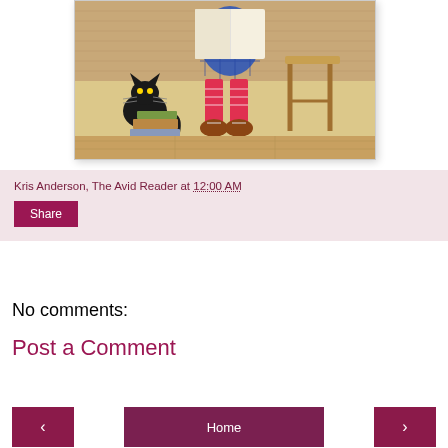[Figure (illustration): Vintage illustration showing a child in blue plaid outfit with red striped stockings and brown shoes sitting on a stool reading a large book, with a black cat nearby and books stacked on the floor]
Kris Anderson, The Avid Reader at 12:00 AM
Share
No comments:
Post a Comment
‹
Home
›